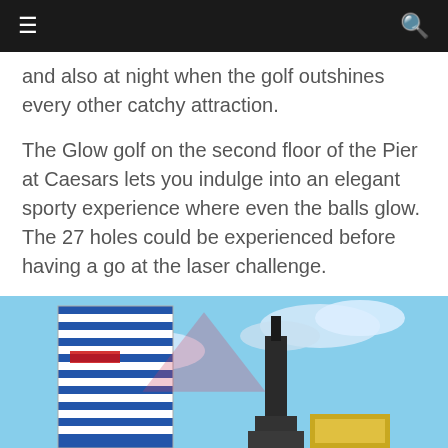≡  [nav bar]  🔍
and also at night when the golf outshines every other catchy attraction.
The Glow golf on the second floor of the Pier at Caesars lets you indulge into an elegant sporty experience where even the balls glow. The 27 holes could be experienced before having a go at the laser challenge.
2. Ripley's Believe It or Not!
[Figure (photo): Photo of Ripley's Believe It or Not building exterior with blue sky background, showing a tall striped building on the left and a dark tower structure in the center.]